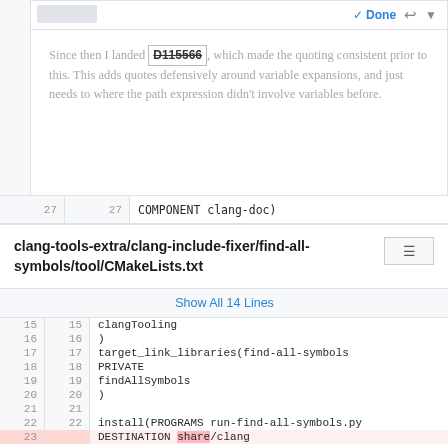Since then I landed D115566, which made the quoting consistent prior to this. This adds quotes defensively around variable expansions, and just needs to where the path expression didn't involve variables before.
[Figure (screenshot): Code diff view showing file clang-tools-extra/clang-include-fixer/find-all-symbols/tool/CMakeLists.txt with line numbers and a highlighted deletion on line 23 (DESTINATION share/clang)]
clang-tools-extra/clang-include-fixer/find-all-symbols/tool/CMakeLists.txt
Show All 14 Lines
| line_old | line_new | code |
| --- | --- | --- |
| 15 | 15 |   clangTooling |
| 16 | 16 |   ) |
| 17 | 17 | target_link_libraries(find-all-symbols |
| 18 | 18 |   PRIVATE |
| 19 | 19 |   findAllSymbols |
| 20 | 20 |   ) |
| 21 | 21 |  |
| 22 | 22 | install(PROGRAMS run-find-all-symbols.py |
| 23 |  |   DESTINATION share/clang |